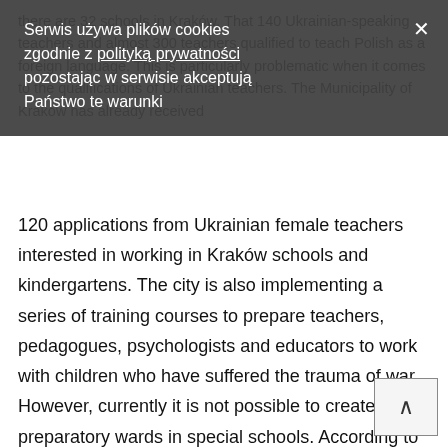there are 32 schools in Kraków. That 140 Ukrainian-speaking teachers and almost 300 teachers qualified to teach Polish as a foreign language. This is particularly problematic when it comes to the qualifications of Ukrainian teachers. The Municipality of Kraków has already received
Serwis używa plików cookies zgodnie z polityką prywatności pozostając w serwisie akceptują Państwo te warunki
120 applications from Ukrainian female teachers interested in working in Kraków schools and kindergartens. The city is also implementing a series of training courses to prepare teachers, pedagogues, psychologists and educators to work with children who have suffered the trauma of war. However, currently it is not possible to create preparatory wards in special schools. According to the law, preparatory classes can function only in mainstream schools. This is why Mayor of Kraków has applied to the Ministry of